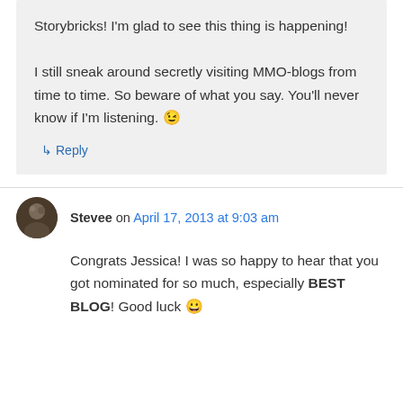Storybricks! I'm glad to see this thing is happening!

I still sneak around secretly visiting MMO-blogs from time to time. So beware of what you say. You'll never know if I'm listening. 😉
↳ Reply
Stevee on April 17, 2013 at 9:03 am
Congrats Jessica! I was so happy to hear that you got nominated for so much, especially BEST BLOG! Good luck 😀